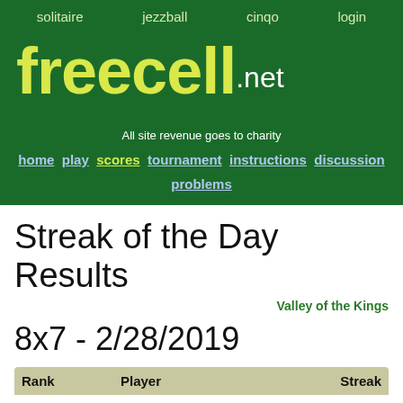solitaire   jezzball   cinqo   login
freecell.net
All site revenue goes to charity
home play scores tournament instructions discussion problems
Streak of the Day Results
Valley of the Kings
8x7 - 2/28/2019
| Rank | Player | Streak |
| --- | --- | --- |